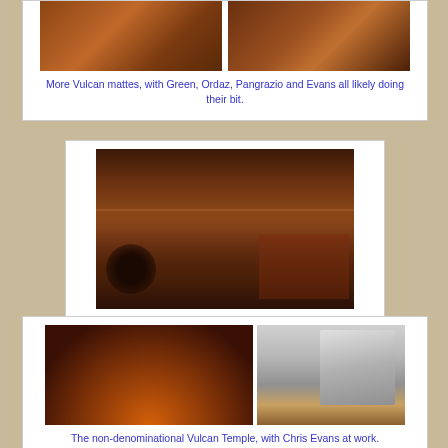[Figure (photo): Two side-by-side Vulcan matte paintings with warm orange/brown fiery tones]
More Vulcan mattes, with Green, Ordaz, Pangrazio and Evans all likely doing their bit.
[Figure (photo): Vulcan scene showing dark figures/warriors in lower half with warm orange atmosphere; upper half of frame painted in later]
Upper half of frame painted in later.
[Figure (photo): Two images: left shows non-denominational Vulcan Temple with glowing circular element; right shows Chris Evans at work examining a prop]
The non-denominational Vulcan Temple, with Chris Evans at work.